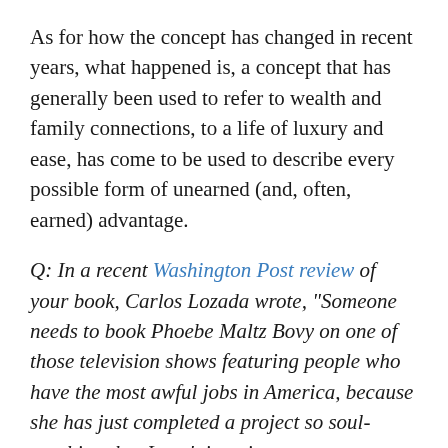As for how the concept has changed in recent years, what happened is, a concept that has generally been used to refer to wealth and family connections, to a life of luxury and ease, has come to be used to describe every possible form of unearned (and, often, earned) advantage.
Q: In a recent Washington Post review of your book, Carlos Lozada wrote, "Someone needs to book Phoebe Maltz Bovy on one of those television shows featuring people who have the most awful jobs in America, because she has just completed a project so soul-crushing that I can't imagine anyone ever doing it again, certainly not voluntarily." Was it soul-crushing?
A: I can only say this: before I...